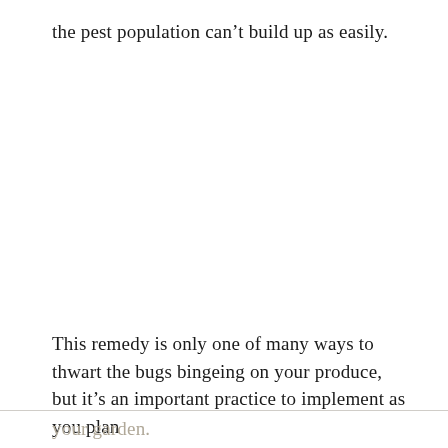the pest population can't build up as easily.
This remedy is only one of many ways to thwart the bugs bingeing on your produce, but it's an important practice to implement as you plan
your garden.